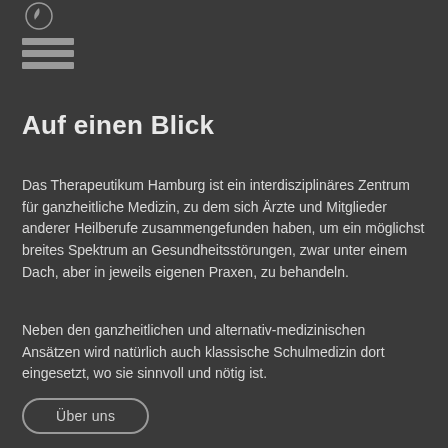[Figure (logo): Circular logo with leaf/plant emblem for Therapeutikum Hamburg]
[Figure (other): Hamburger menu icon with three horizontal bars]
Auf einen Blick
Das Therapeutikum Hamburg ist ein interdisziplinäres Zentrum für ganzheitliche Medizin, zu dem sich Ärzte und Mitglieder anderer Heilberufe zusammengefunden haben, um ein möglichst breites Spektrum an Gesundheitsstörungen, zwar unter einem Dach, aber in jeweils eigenen Praxen, zu behandeln.
Neben den ganzheitlichen und alternativ-medizinischen Ansätzen wird natürlich auch klassische Schulmedizin dort eingesetzt, wo sie sinnvoll und nötig ist.
Über uns